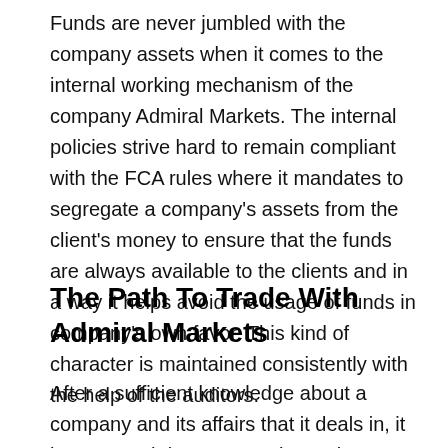Funds are never jumbled with the company assets when it comes to the internal working mechanism of the company Admiral Markets. The internal policies strive hard to remain compliant with the FCA rules where it mandates to segregate a company's assets from the client's money to ensure that the funds are always available to the clients and in a way it helps avoid the usage of funds in company's own favor. This kind of character is maintained consistently with the help of the auditors.
The Path To Trade With Admiral Markets
After a sufficient knowledge about a company and its affairs that it deals in, it is very much important to know the gateway through which the businesses...